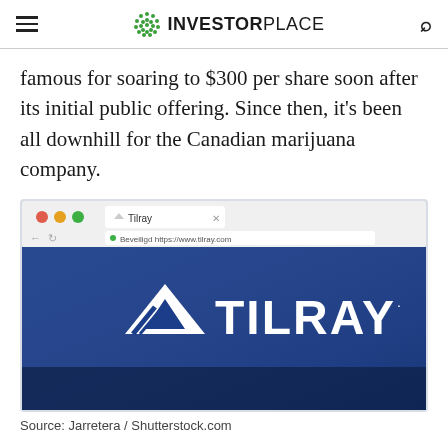INVESTORPLACE
famous for soaring to $300 per share soon after its initial public offering. Since then, it's been all downhill for the Canadian marijuana company.
[Figure (screenshot): Screenshot of a browser showing the Tilray website (www.tilray.com) with the Tilray logo on a dark blue background. Browser tabs and navigation bar visible at the top of the screenshot.]
Source: Jarretera / Shutterstock.com